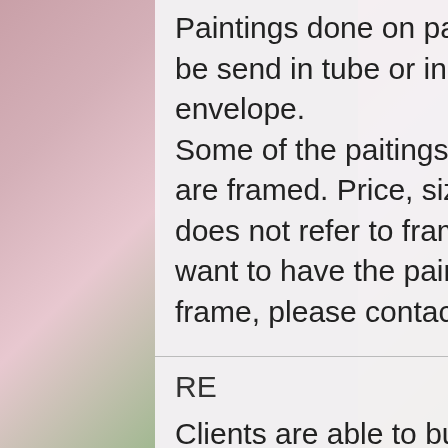Paintings done on paper, can either be send in tube or in a protective envelope. Some of the paitings done on paper, are framed. Price, size & weight info does not refer to frames. Should you want to have the painting send with a frame, please contact me.
RE
Clients are able to buy art, knowing that if they decide not to keep their purchase, they may return itin an undamaged considtion within 3 days of receipt for an exchange or they will be reimbursed for the full...